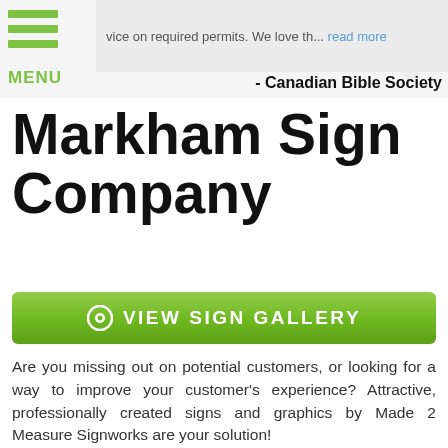vice on required permits. We love th... read more
- Canadian Bible Society
Markham Sign Company
[Figure (other): Green button with eye icon: VIEW SIGN GALLERY]
Are you missing out on potential customers, or looking for a way to improve your customer's experience? Attractive, professionally created signs and graphics by Made 2 Measure Signworks are your solution!
[Figure (photo): Photo of Made 2 Measure Signworks storefront sign with logo. Two green circular icons overlay bottom right: phone and email icons.]